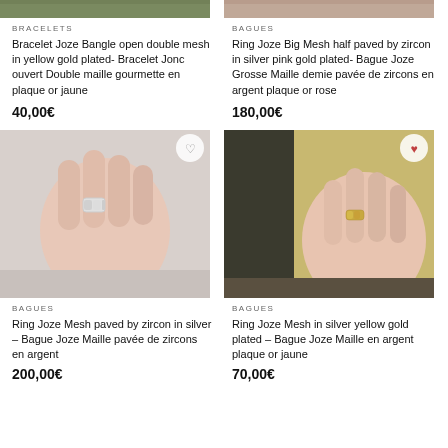[Figure (photo): Partial top of bracelet product image, cropped - left column]
BRACELETS
Bracelet Joze Bangle open double mesh in yellow gold plated- Bracelet Jonc ouvert Double maille gourmette en plaque or jaune
40,00€
[Figure (photo): Partial top of ring product image, cropped - right column]
BAGUES
Ring Joze Big Mesh half paved by zircon in silver pink gold plated- Bague Joze Grosse Maille demie pavée de zircons en argent plaque or rose
180,00€
[Figure (photo): Hand wearing a silver chain mesh ring paved with zircons]
BAGUES
Ring Joze Mesh paved by zircon in silver – Bague Joze Maille pavée de zircons en argent
200,00€
[Figure (photo): Hand wearing a yellow gold plated chain mesh ring against dark background]
BAGUES
Ring Joze Mesh in silver yellow gold plated – Bague Joze Maille en argent plaque or jaune
70,00€